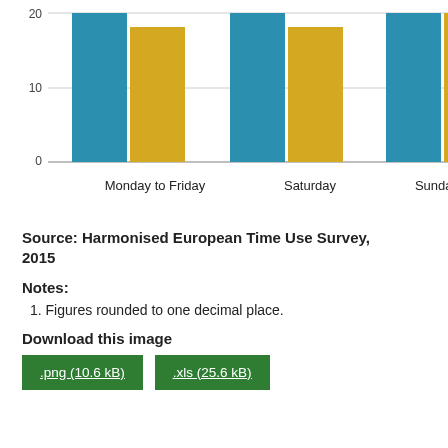[Figure (grouped-bar-chart): ]
Source: Harmonised European Time Use Survey, 2015
Notes:
1. Figures rounded to one decimal place.
Download this image
.png (10.6 kB)   .xls (25.6 kB)